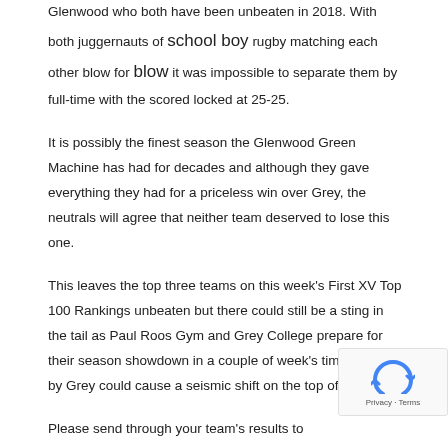Glenwood who both have been unbeaten in 2018. With both juggernauts of school boy rugby matching each other blow for blow it was impossible to separate them by full-time with the scored locked at 25-25.
It is possibly the finest season the Glenwood Green Machine has had for decades and although they gave everything they had for a priceless win over Grey, the neutrals will agree that neither team deserved to lose this one.
This leaves the top three teams on this week's First XV Top 100 Rankings unbeaten but there could still be a sting in the tail as Paul Roos Gym and Grey College prepare for their season showdown in a couple of week's time. A win by Grey could cause a seismic shift on the top of the table.
Please send through your team's results to editor@saschoolsports.co.za